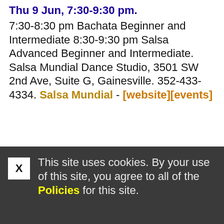Thu 9 Jun, 7:30-9:30 pm. 7:30-8:30 pm Bachata Beginner and Intermediate 8:30-9:30 pm Salsa Advanced Beginner and Intermediate. Salsa Mundial Dance Studio, 3501 SW 2nd Ave, Suite G, Gainesville. 352-433-4334. Salsa Mundial - [website][events]
This site uses cookies. By your use of this site, you agree to all of the Policies for this site.